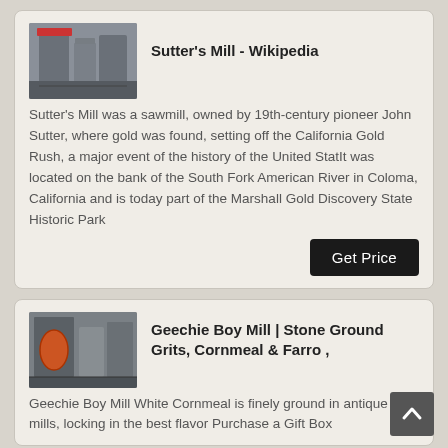Sutter's Mill - Wikipedia
Sutter's Mill was a sawmill, owned by 19th-century pioneer John Sutter, where gold was found, setting off the California Gold Rush, a major event of the history of the United StatIt was located on the bank of the South Fork American River in Coloma, California and is today part of the Marshall Gold Discovery State Historic Park
Geechie Boy Mill | Stone Ground Grits, Cornmeal & Farro ,
Geechie Boy Mill White Cornmeal is finely ground in antique mills, locking in the best flavor Purchase a Gift Box